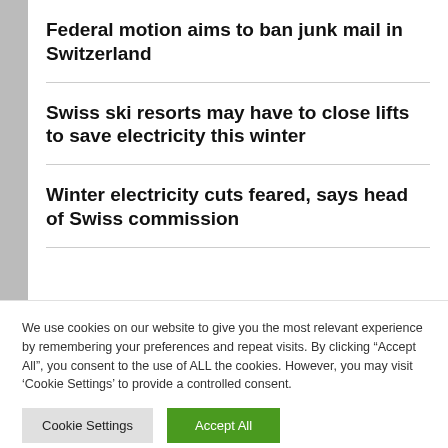Federal motion aims to ban junk mail in Switzerland
Swiss ski resorts may have to close lifts to save electricity this winter
Winter electricity cuts feared, says head of Swiss commission
We use cookies on our website to give you the most relevant experience by remembering your preferences and repeat visits. By clicking “Accept All”, you consent to the use of ALL the cookies. However, you may visit 'Cookie Settings' to provide a controlled consent.